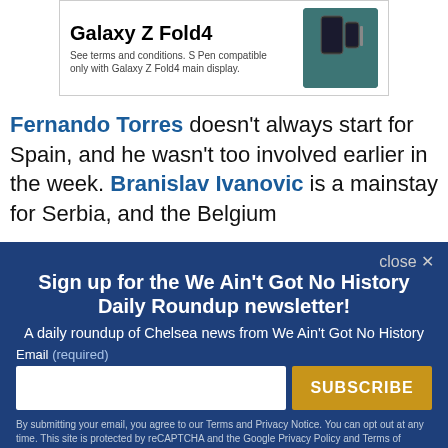[Figure (advertisement): Galaxy Z Fold4 advertisement banner with phone image and text: 'Galaxy Z Fold4. See terms and conditions. S Pen compatible only with Galaxy Z Fold4 main display.']
Fernando Torres doesn't always start for Spain, and he wasn't too involved earlier in the week. Branislav Ivanovic is a mainstay for Serbia, and the Belgium
close ×
Sign up for the We Ain't Got No History Daily Roundup newsletter!
A daily roundup of Chelsea news from We Ain't Got No History
Email (required)
SUBSCRIBE
By submitting your email, you agree to our Terms and Privacy Notice. You can opt out at any time. This site is protected by reCAPTCHA and the Google Privacy Policy and Terms of Service apply.